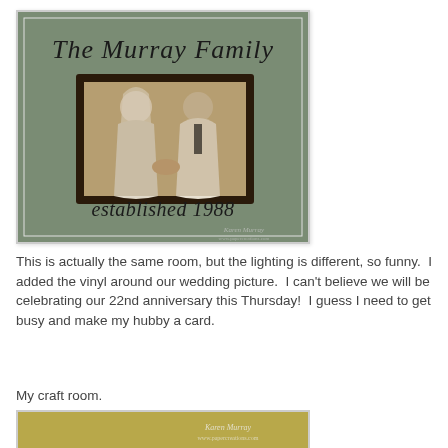[Figure (photo): A framed vintage wedding photograph on a sage green wall with vinyl wall lettering reading 'The Murray Family' above the frame and 'established 1988' below. The photo shows a bride and groom in black and white. A watermark reads 'Karen Murray' and a website URL.]
This is actually the same room, but the lighting is different, so funny.  I added the vinyl around our wedding picture.  I can't believe we will be celebrating our 22nd anniversary this Thursday!  I guess I need to get busy and make my hubby a card.
My craft room.
[Figure (photo): Partial view of a second photo, showing a gold/olive background with a watermark reading 'Karen Murray' and a website URL.]